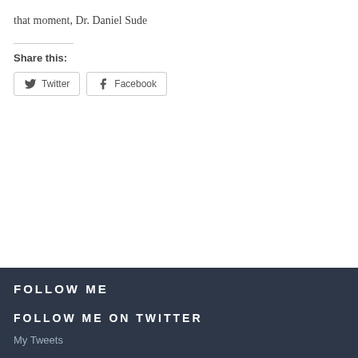that moment, Dr. Daniel Sude
Share this:
[Figure (other): Twitter share button with bird icon]
[Figure (other): Facebook share button with f icon]
FOLLOW ME
FOLLOW ME ON TWITTER
My Tweets